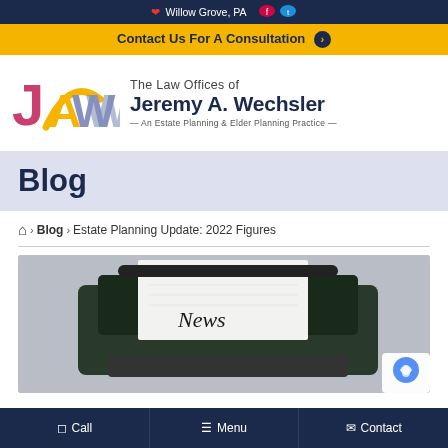Willow Grove, PA
Contact Us For A Consultation
[Figure (logo): JAW logo with pink J, gold arch, purple W letters, and text: The Law Offices of Jeremy A. Wechsler — An Estate Planning & Elder Planning Practice —]
Blog
🏠 > Blog > Estate Planning Update: 2022 Figures
[Figure (photo): Photo of a typewriter with a white sheet of paper that reads 'News' in italic font]
Call  Menu  Contact